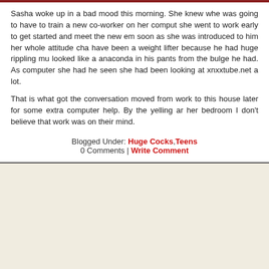Sasha woke up in a bad mood this morning. She knew whe was going to have to train a new co-worker on her comput she went to work early to get started and meet the new em soon as she was introduced to him her whole attitude cha have been a weight lifter because he had huge rippling mu looked like a anaconda in his pants from the bulge he had. As computer she had he seen she had been looking at xnxxtube.net a lot.
That is what got the conversation moved from work to this house later for some extra computer help. By the yelling ar her bedroom I don't believe that work was on their mind.
Blogged Under: Huge Cocks,Teens 0 Comments | Write Comment